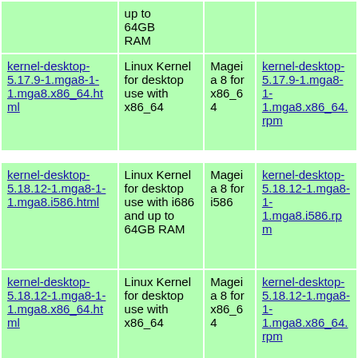|  | up to 64GB RAM |  |  |
| kernel-desktop-5.17.9-1.mga8-1-1.mga8.x86_64.html | Linux Kernel for desktop use with x86_64 | Mageia 8 for x86_64 | kernel-desktop-5.17.9-1.mga8-1-1.mga8.x86_64.rpm |
| kernel-desktop-5.18.12-1.mga8-1-1.mga8.i586.html | Linux Kernel for desktop use with i686 and up to 64GB RAM | Mageia 8 for i586 | kernel-desktop-5.18.12-1.mga8-1-1.mga8.i586.rpm |
| kernel-desktop-5.18.12-1.mga8-1-1.mga8.x86_64.html | Linux Kernel for desktop use with x86_64 | Mageia 8 for x86_64 | kernel-desktop-5.18.12-1.mga8-1-1.mga8.x86_64.rpm |
|  | Linux Kernel for... |  |  |